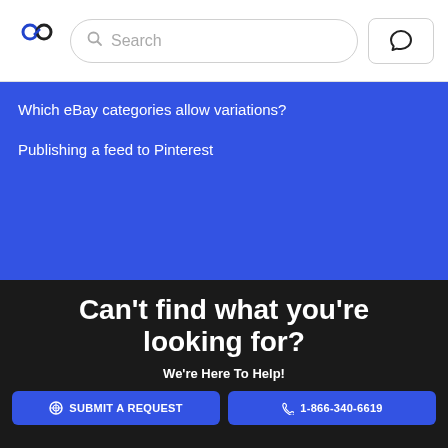Search
Which eBay categories allow variations?
Publishing a feed to Pinterest
Can't find what you're looking for?
We're Here To Help!
SUBMIT A REQUEST
1-866-340-6619